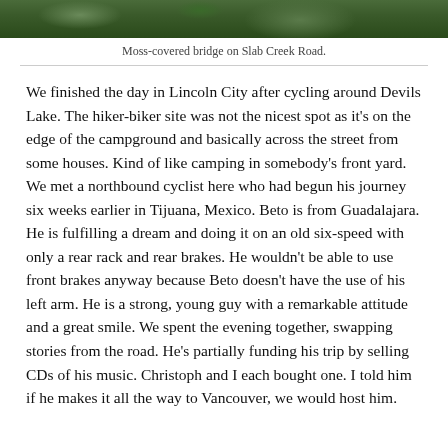[Figure (photo): Top portion of a photo showing a moss-covered bridge on Slab Creek Road, with green foliage and trees visible.]
Moss-covered bridge on Slab Creek Road.
We finished the day in Lincoln City after cycling around Devils Lake. The hiker-biker site was not the nicest spot as it's on the edge of the campground and basically across the street from some houses. Kind of like camping in somebody's front yard. We met a northbound cyclist here who had begun his journey six weeks earlier in Tijuana, Mexico. Beto is from Guadalajara. He is fulfilling a dream and doing it on an old six-speed with only a rear rack and rear brakes. He wouldn't be able to use front brakes anyway because Beto doesn't have the use of his left arm. He is a strong, young guy with a remarkable attitude and a great smile. We spent the evening together, swapping stories from the road. He's partially funding his trip by selling CDs of his music. Christoph and I each bought one. I told him if he makes it all the way to Vancouver, we would host him.